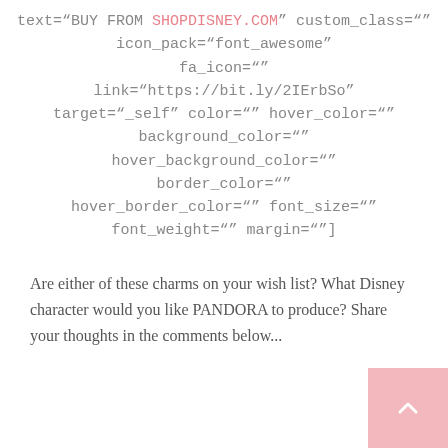text="BUY FROM SHOPDISNEY.COM" custom_class="" icon_pack="font_awesome" fa_icon="" link="https://bit.ly/2IErbSo" target="_self" color="" hover_color="" background_color="" hover_background_color="" border_color="" hover_border_color="" font_size="" font_weight="" margin=""]
Are either of these charms on your wish list? What Disney character would you like PANDORA to produce? Share your thoughts in the comments below...